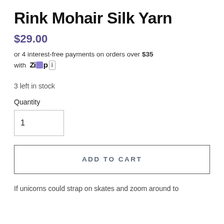Rink Mohair Silk Yarn
$29.00
or 4 interest-free payments on orders over $35 with Zip ℹ
3 left in stock
Quantity
1
ADD TO CART
If unicorns could strap on skates and zoom around to